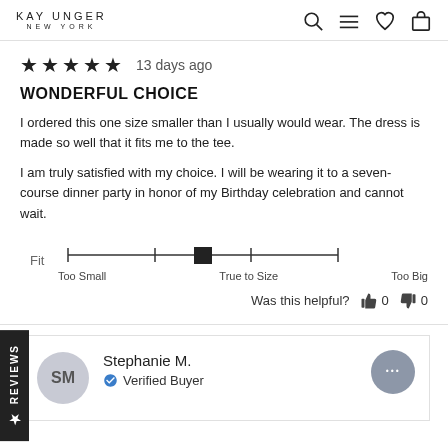KAY UNGER NEW YORK
★★★★★ 13 days ago
WONDERFUL CHOICE
I ordered this one size smaller than I usually would wear. The dress is made so well that it fits me to the tee.
I am truly satisfied with my choice. I will be wearing it to a seven-course dinner party in honor of my Birthday celebration and cannot wait.
Fit — Too Small / True to Size / Too Big slider
Was this helpful? 0 0
Stephanie M. — Verified Buyer